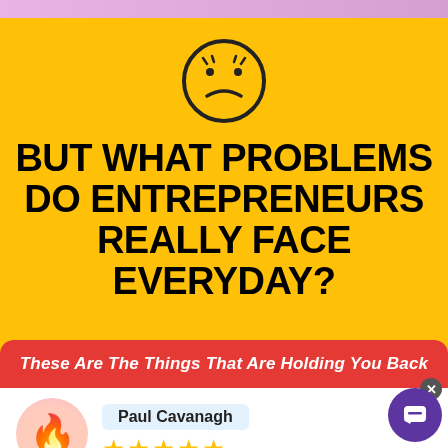[Figure (illustration): Sad face emoji / emoticon in black outline circle on yellow background]
BUT WHAT PROBLEMS DO ENTREPRENEURS REALLY FACE EVERYDAY?
These Are The Things That Are Holding You Back
[Figure (illustration): Flame emoji inside a light pink circle]
Paul Cavanagh
★★★★★
"Webinarflow is the best Webinar Marketing Platf... Marketers. I used to use other service and never... feeling. Just Wow!"